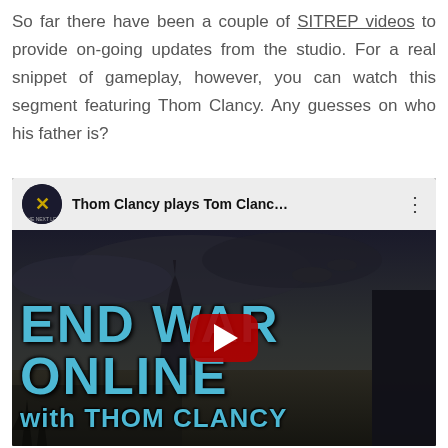So far there have been a couple of SITREP videos to provide on-going updates from the studio. For a real snippet of gameplay, however, you can watch this segment featuring Thom Clancy. Any guesses on who his father is?
[Figure (screenshot): Embedded YouTube video thumbnail showing 'Thom Clancy plays Tom Clancy's End War Online' with a dark atmospheric scene featuring the Eiffel Tower, soldiers, aircraft, and the text END WAR ONLINE with THOM CLANCY. Red YouTube play button in center.]